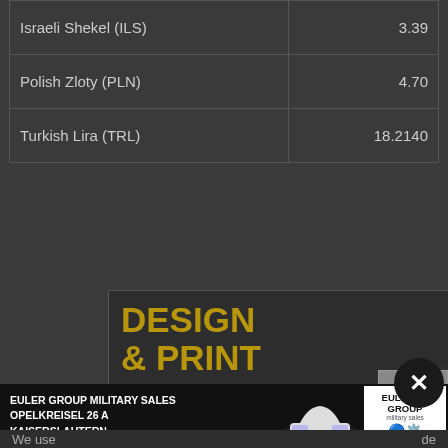| Currency | Rate |
| --- | --- |
| Israeli Shekel (ILS) | 3.39 |
| Polish Zloty (PLN) | 4.70 |
| Turkish Lira (TRL) | 18.2140 |
[Figure (illustration): Design & Print Solutions advertisement banner with gold text on dark background]
[Figure (illustration): Euler Group Military Sales advertisement with car image and logo. Address: Opelkreisel 26 A, Kaiserslautern]
We use ... de